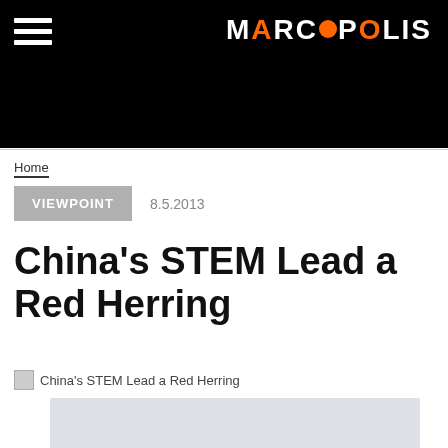MARCOPOLIS
Home
VIEWPOINT  8.5.2013
China's STEM Lead a Red Herring
China's STEM Lead a Red Herring
[Figure (other): Partially visible chart or graph at bottom of page]